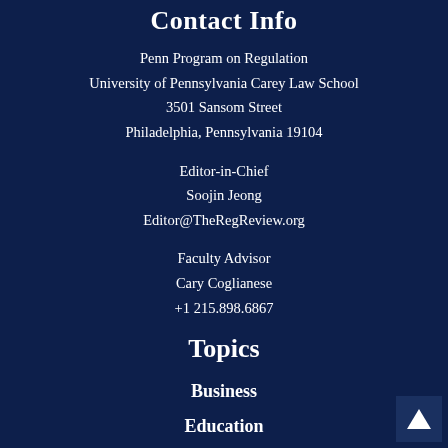Contact Info
Penn Program on Regulation
University of Pennsylvania Carey Law School
3501 Sansom Street
Philadelphia, Pennsylvania 19104
Editor-in-Chief
Soojin Jeong
Editor@TheRegReview.org
Faculty Advisor
Cary Coglianese
+1 215.898.6867
Topics
Business
Education
Environment
Health
Infrastructure